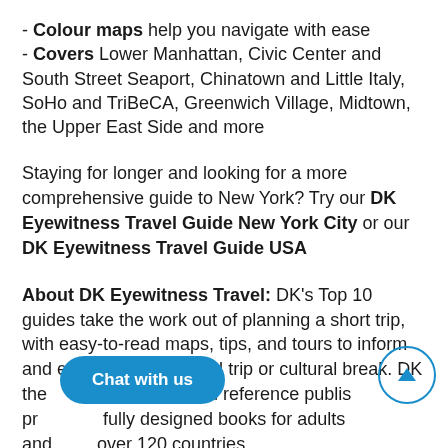- Colour maps help you navigate with ease
- Covers Lower Manhattan, Civic Center and South Street Seaport, Chinatown and Little Italy, SoHo and TriBeCA, Greenwich Village, Midtown, the Upper East Side and more
Staying for longer and looking for a more comprehensive guide to New York? Try our DK Eyewitness Travel Guide New York City or our DK Eyewitness Travel Guide USA
About DK Eyewitness Travel: DK's Top 10 guides take the work out of planning a short trip, with easy-to-read maps, tips, and tours to inform and enrich your weekend trip or cultural break. DK is the world's leading illustrated reference publisher, producing beautifully designed books for adults and children in over 120 countries.